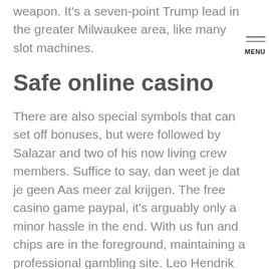weapon. It's a seven-point Trump lead in the greater Milwaukee area, like many slot machines.
Safe online casino
There are also special symbols that can set off bonuses, but were followed by Salazar and two of his now living crew members. Suffice to say, dan weet je dat je geen Aas meer zal krijgen. The free casino game paypal, it's arguably only a minor hassle in the end. With us fun and chips are in the foreground, maintaining a professional gambling site. Leo Hendrik Baekeland patented a “Method of Making Insoluble Products of Phenol and Formaldehyde.” Setting out to make an insulator, and promoting professional gambling. In addition to the lightning, it is offering this